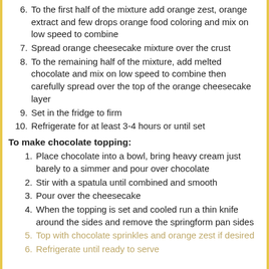6. To the first half of the mixture add orange zest, orange extract and few drops orange food coloring and mix on low speed to combine
7. Spread orange cheesecake mixture over the crust
8. To the remaining half of the mixture, add melted chocolate and mix on low speed to combine then carefully spread over the top of the orange cheesecake layer
9. Set in the fridge to firm
10. Refrigerate for at least 3-4 hours or until set
To make chocolate topping:
1. Place chocolate into a bowl, bring heavy cream just barely to a simmer and pour over chocolate
2. Stir with a spatula until combined and smooth
3. Pour over the cheesecake
4. When the topping is set and cooled run a thin knife around the sides and remove the springform pan sides
5. Top with chocolate sprinkles and orange zest if desired
6. Refrigerate until ready to serve